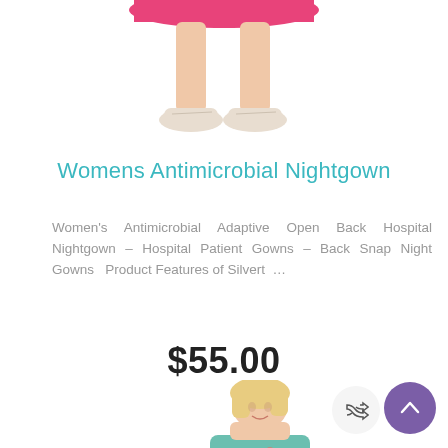[Figure (photo): Cropped photo showing lower body of a person wearing a pink dress and beige shoes, product shot for nightgown]
Womens Antimicrobial Nightgown
Women's Antimicrobial Adaptive Open Back Hospital Nightgown – Hospital Patient Gowns – Back Snap Night Gowns   Product Features of Silvert  …
$55.00
[Figure (other): Purple square button with text 'S...' representing a size selector]
[Figure (photo): Partial photo of a woman wearing a floral teal nightgown, cropped at bottom of page]